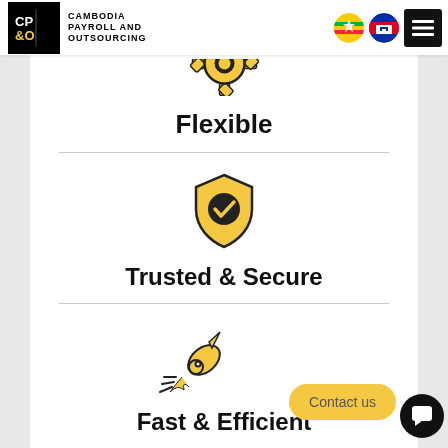Cambodia Payroll and Outsourcing
[Figure (illustration): Yellow gear icon (partially visible at top)]
Flexible
[Figure (illustration): Yellow shield icon with black checkmark circle]
Trusted & Secure
[Figure (illustration): Yellow rocket icon launching, partially visible]
Fast & Efficient